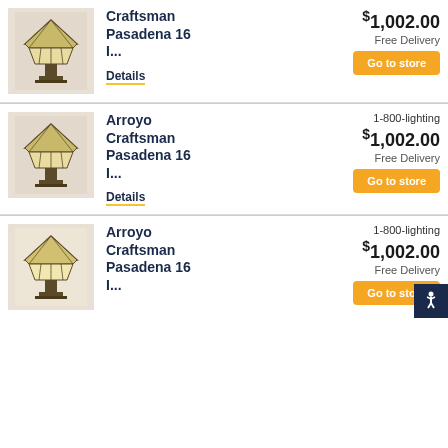[Figure (photo): Arroyo Craftsman Pasadena 16 lamp - stained glass table lamp with bronze base, top view]
Craftsman Pasadena 16 I...
Details
$1,002.00
Free Delivery
Go to store
[Figure (photo): Arroyo Craftsman Pasadena 16 lamp - stained glass table lamp with bronze base]
Arroyo Craftsman Pasadena 16 I...
Details
1-800-lighting
$1,002.00
Free Delivery
Go to store
[Figure (photo): Arroyo Craftsman Pasadena 16 lamp - stained glass table lamp with bronze base, bright background]
Arroyo Craftsman Pasadena 16 I...
1-800-lighting
$1,002.00
Free Delivery
Go to store